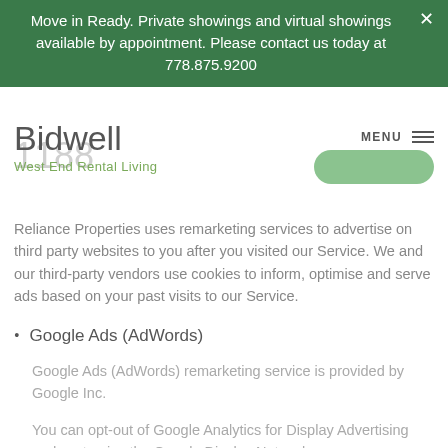Move in Ready. Private showings and virtual showings available by appointment. Please contact us today at 778.875.9200
1188 Bidwell
West End Rental Living
Reliance Properties uses remarketing services to advertise on third party websites to you after you visited our Service. We and our third-party vendors use cookies to inform, optimise and serve ads based on your past visits to our Service.
Google Ads (AdWords)
Google Ads (AdWords) remarketing service is provided by Google Inc.
You can opt-out of Google Analytics for Display Advertising and customise the Google Display Network